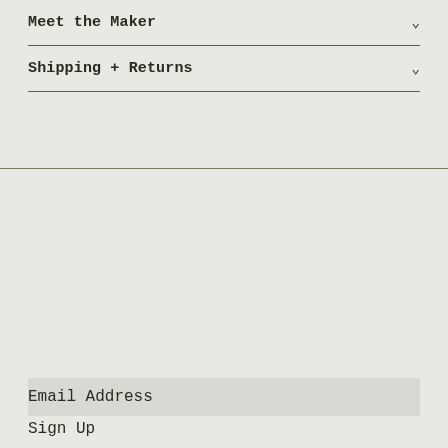Meet the Maker
Shipping + Returns
Email Address
Sign Up